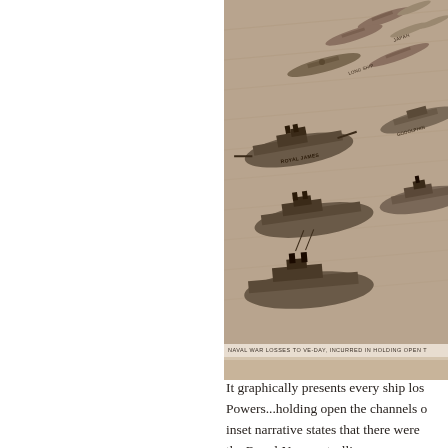[Figure (illustration): Sepia-toned illustration showing multiple naval warships crowded together, viewed from above at an angle. Ships of various sizes including battleships and destroyers are depicted in a detailed engraving style. A caption at the bottom reads 'NAVAL WAR LOSSES TO VE-DAY, INCURRED IN HOLDING OPEN T[HE CHANNELS]'. Several ships have labels including 'JAPAN' and other partially visible text.]
NAVAL WAR LOSSES TO VE-DAY, INCURRED IN HOLDING OPEN T
It graphically presents every ship los... Powers...holding open the channels o... inset narrative states that there were the Royal Navy patrolling an aggreg...